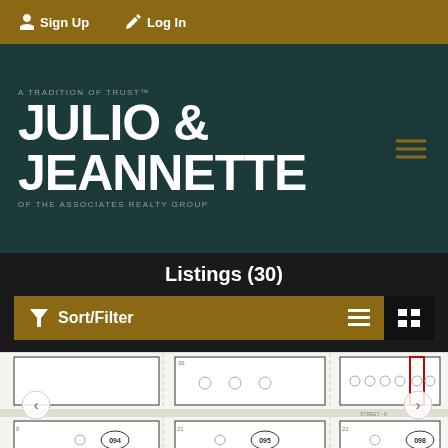Sign Up   Log In
JULIO & JEANNETTE
A TRADITION OF TRUST™
OF THE ASSOCIATES REALTY GROUP
Listings (30)
[Figure (screenshot): Sort/Filter button with funnel icon and list view button]
[Figure (map): Property plat map showing lots numbered 094, 095, 098 with one lot highlighted in red]
$3,000
82393 7TH Street